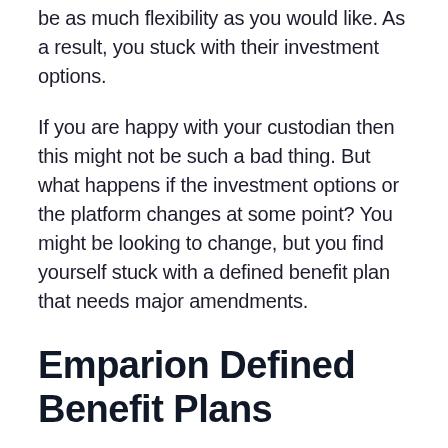be as much flexibility as you would like. As a result, you stuck with their investment options.
If you are happy with your custodian then this might not be such a bad thing. But what happens if the investment options or the platform changes at some point? You might be looking to change, but you find yourself stuck with a defined benefit plan that needs major amendments.
Emparion Defined Benefit Plans
What's especially nice about our plans is that they are portable. They can be used